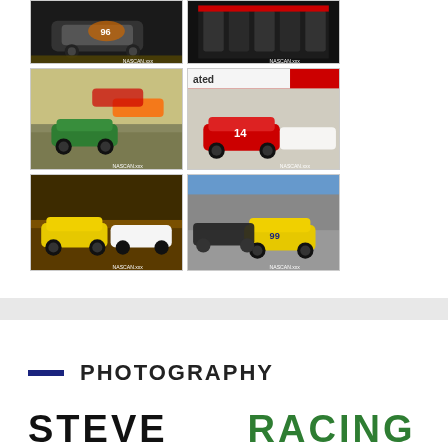[Figure (photo): NASCAR race car close-up, number visible, dark background]
[Figure (photo): Close-up of race car engine/mechanical parts]
[Figure (photo): NASCAR race cars on track, green car prominent]
[Figure (photo): NASCAR race cars on track, red number 14 car prominent, pit lane visible]
[Figure (photo): Dirt track racing, yellow car and white car racing at night]
[Figure (photo): Short track racing, white and yellow cars on asphalt track]
PHOTOGRAPHY
STEVE   RACING